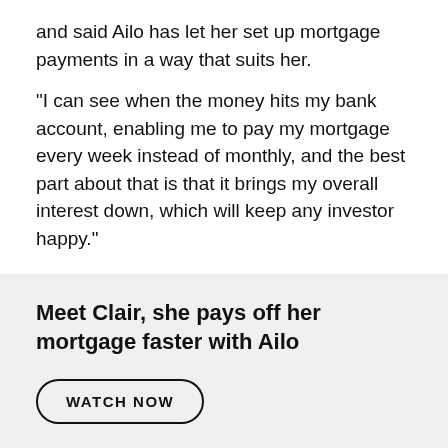and said Ailo has let her set up mortgage payments in a way that suits her.
“I can see when the money hits my bank account, enabling me to pay my mortgage every week instead of monthly, and the best part about that is that it brings my overall interest down, which will keep any investor happy.”
Meet Clair, she pays off her mortgage faster with Ailo
WATCH NOW